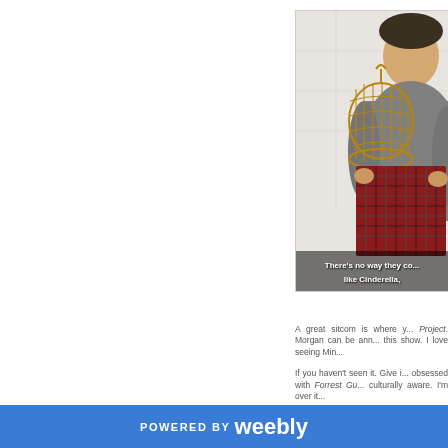[Figure (screenshot): A man holding a birdcage and a plaid garment, with subtitle text overlaid at the bottom reading: There's no way they co... like Cinderella,]
There's no way they co... like Cinderella,
A great sitcom is where y... Project. Morgan can be ann... this show. I love seeing Min...
If you haven't seen it. Give i... obsessed with Forrest Gu... culturally aware. I'm over it...
POWERED BY weebly